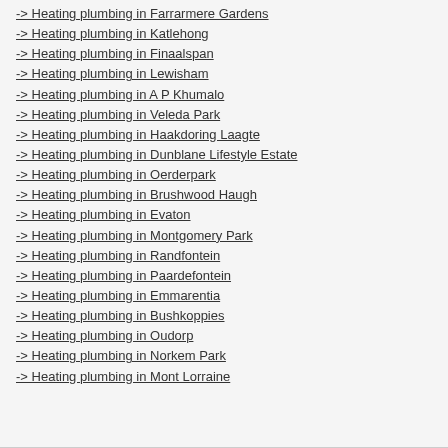-> Heating plumbing in Farrarmere Gardens
-> Heating plumbing in Katlehong
-> Heating plumbing in Finaalspan
-> Heating plumbing in Lewisham
-> Heating plumbing in A P Khumalo
-> Heating plumbing in Veleda Park
-> Heating plumbing in Haakdoring Laagte
-> Heating plumbing in Dunblane Lifestyle Estate
-> Heating plumbing in Oerderpark
-> Heating plumbing in Brushwood Haugh
-> Heating plumbing in Evaton
-> Heating plumbing in Montgomery Park
-> Heating plumbing in Randfontein
-> Heating plumbing in Paardefontein
-> Heating plumbing in Emmarentia
-> Heating plumbing in Bushkoppies
-> Heating plumbing in Oudorp
-> Heating plumbing in Norkem Park
-> Heating plumbing in Mont Lorraine
GET A FREE QUOTE NOW!
Your name: *